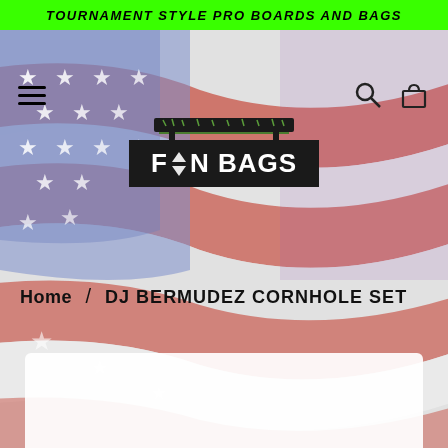TOURNAMENT STYLE PRO BOARDS AND BAGS
[Figure (illustration): Distressed American flag background with wavy red, white, and blue stripes and white stars on blue canton, covering the hero section of a retail website.]
[Figure (logo): FAN BAGS logo: dark rectangular background with white text reading FAN BAGS, stylized hourglass/person icon replacing the letter A in FAN, with a cornhole board illustration above.]
Home / DJ BERMUDEZ CORNHOLE SET